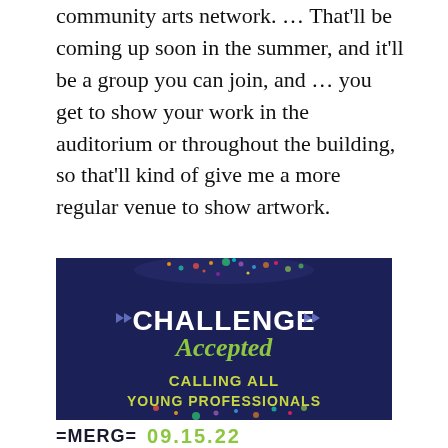community arts network. … That'll be coming up soon in the summer, and it'll be a group you can join, and … you get to show your work in the auditorium or throughout the building, so that'll kind of give me a more regular venue to show artwork.
[Figure (illustration): Dark navy blue banner advertisement with colorful paint splatter at top and bottom. Large bold white text reads 'CHALLENGE' with italic green script text 'Accepted' below it, flanked by forward-arrow play button icons. Below in yellow-green uppercase text: 'CALLING ALL YOUNG PROFESSIONALS'.]
=MERGE= 09.15.22